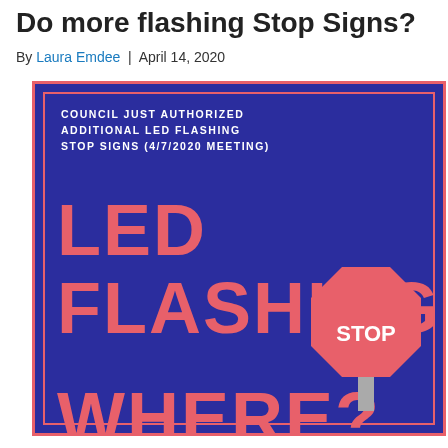Do more flashing Stop Signs?
By Laura Emdee | April 14, 2020
[Figure (infographic): Dark blue infographic with pink/red border and text. Large text reads 'LED FLASHING' with a stop sign illustration. Header text reads 'COUNCIL JUST AUTHORIZED ADDITIONAL LED FLASHING STOP SIGNS (4/7/2020 MEETING)'. Bottom text partially visible: 'WHERE?']